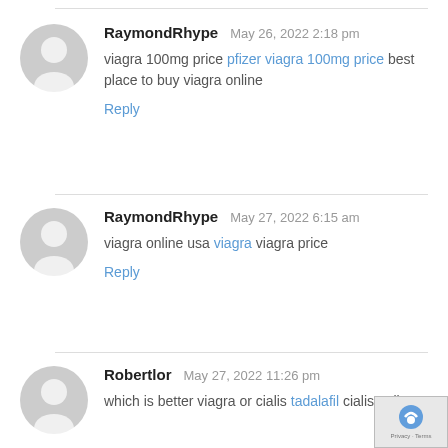RaymondRhype   May 26, 2022 2:18 pm
viagra 100mg price pfizer viagra 100mg price best place to buy viagra online
Reply
RaymondRhype   May 27, 2022 6:15 am
viagra online usa viagra viagra price
Reply
Robertlor   May 27, 2022 11:26 pm
which is better viagra or cialis tadalafil cialis online